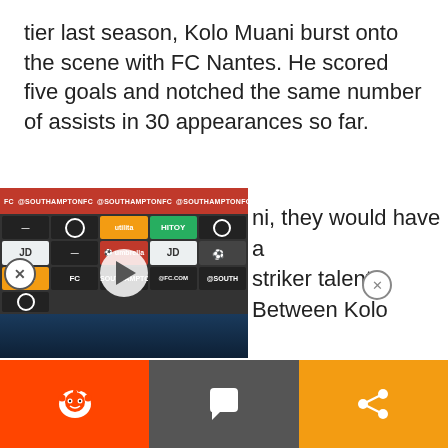tier last season, Kolo Muani burst onto the scene with FC Nantes. He scored five goals and notched the same number of assists in 30 appearances so far.
[Figure (screenshot): Embedded video player showing a press conference with a person in a blue cap and Chelsea jacket, with red sponsor banners at top showing Southampton FC branding and JD Sports logos. A white play button circle is overlaid on the center.]
ni, they would have a striker talent. Between Kolo
[Figure (infographic): Social sharing bar with three buttons: Reddit (orange), Comment (dark gray), and Share (orange)]